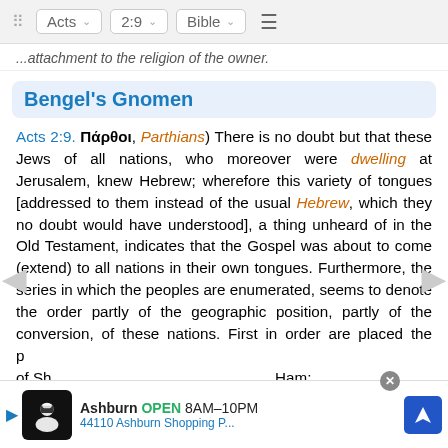⠿  Acts ∨  2:9 ∨  Bible ∨  ≡
...attachment to the religion of the owner.
Bengel's Gnomen
Acts 2:9. Πάρθοι, Parthians) There is no doubt but that these Jews of all nations, who moreover were dwelling at Jerusalem, knew Hebrew; wherefore this variety of tongues [addressed to them instead of the usual Hebrew, which they no doubt would have understood], a thing unheard of in the Old Testament, indicates that the Gospel was about to come (extend) to all nations in their own tongues. Furthermore, the series in which the peoples are enumerated, seems to denote the order partly of the geographic position, partly of the conversion, of these nations. First in order are placed the posterity of Sh... Ham; those... The
[Figure (other): Advertisement banner: Ashburn OPEN 8AM-10PM, 44110 Ashburn Shopping P..., with restaurant icon and navigation icon]